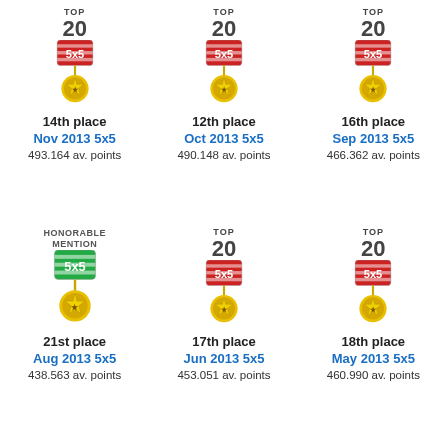[Figure (infographic): Top 20 medal badge for Nov 2013 5x5, 14th place, 493.164 av. points]
[Figure (infographic): Top 20 medal badge for Oct 2013 5x5, 12th place, 490.148 av. points]
[Figure (infographic): Top 20 medal badge for Sep 2013 5x5, 16th place, 466.362 av. points]
[Figure (infographic): Honorable Mention medal badge for Aug 2013 5x5, 21st place, 438.563 av. points]
[Figure (infographic): Top 20 medal badge for Jun 2013 5x5, 17th place, 453.051 av. points]
[Figure (infographic): Top 20 medal badge for May 2013 5x5, 18th place, 460.990 av. points]